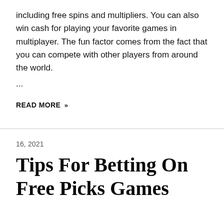including free spins and multipliers. You can also win cash for playing your favorite games in multiplayer. The fun factor comes from the fact that you can compete with other players from around the world.
...
READ MORE »
16, 2021
Tips For Betting On Free Picks Games